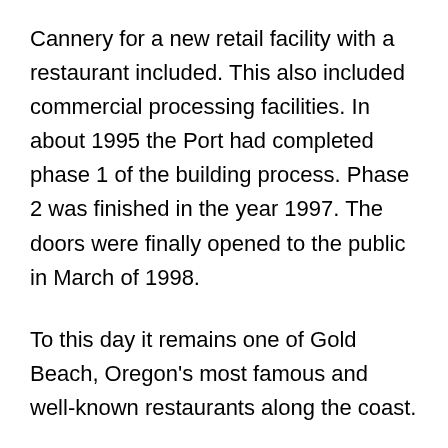Cannery for a new retail facility with a restaurant included. This also included commercial processing facilities. In about 1995 the Port had completed phase 1 of the building process. Phase 2 was finished in the year 1997. The doors were finally opened to the public in March of 1998.
To this day it remains one of Gold Beach, Oregon's most famous and well-known restaurants along the coast.